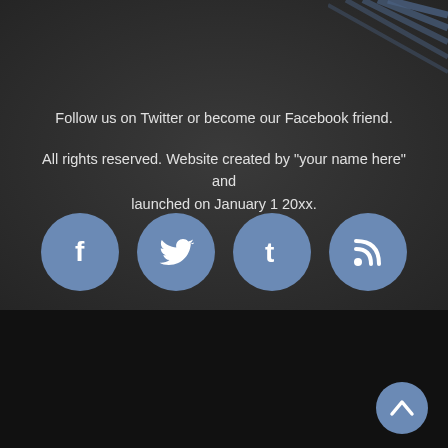[Figure (illustration): Dark textured background with diagonal blue stripe decoration in the top-right corner]
Follow us on Twitter or become our Facebook friend.
All rights reserved. Website created by "your name here" and launched on January 1 20xx.
[Figure (infographic): Four social media icon circles: Facebook (f), Twitter (bird), Tumblr (t), RSS feed icon — all on steel blue circular backgrounds]
[Figure (logo): Small circular back-to-top button with upward chevron/lambda symbol in bottom-right corner]